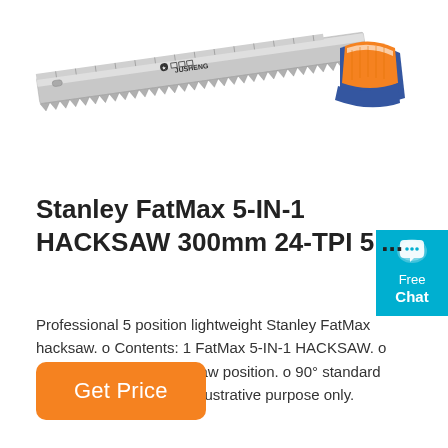[Figure (photo): A hand saw (hacksaw) with a metallic serrated blade with ruler markings, and an orange and blue handle, shown at an angle on a white background. JUSHENG brand markings visible on blade.]
[Figure (infographic): Free Chat widget button — cyan/teal blue background with white chat bubble icon, text reading 'Free Chat']
Stanley FatMax 5-IN-1 HACKSAW 300mm 24-TPI 5 ...
Professional 5 position lightweight Stanley FatMax hacksaw. o Contents: 1 FatMax 5-IN-1 HACKSAW. o uded: Yes. o Short pad saw position. o 90° standard position. Photos are for illustrative purpose only.
Get Price